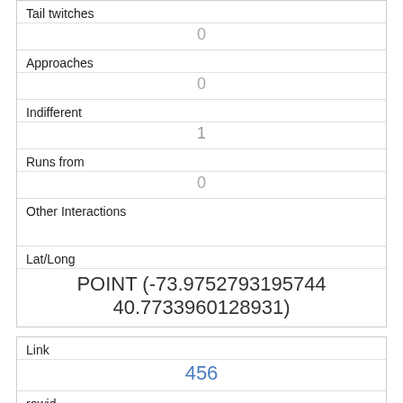| Tail twitches | 0 |
| Approaches | 0 |
| Indifferent | 1 |
| Runs from | 0 |
| Other Interactions |  |
| Lat/Long | POINT (-73.9752793195744 40.7733960128931) |
| Link | 456 |
| rowid | 456 |
| longitude | -73.9547878025303 |
| latitude | 40.7899151873467 |